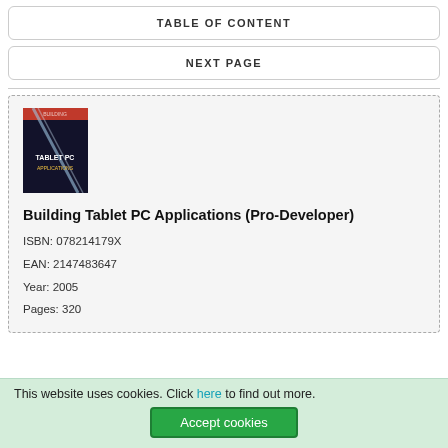TABLE OF CONTENT
NEXT PAGE
[Figure (photo): Book cover of Building Tablet PC Applications (Pro-Developer), dark background with diagonal light streak]
Building Tablet PC Applications (Pro-Developer)
ISBN: 078214179X
EAN: 2147483647
Year: 2005
Pages: 320
This website uses cookies. Click here to find out more.
Accept cookies
BUY ON AMAZON